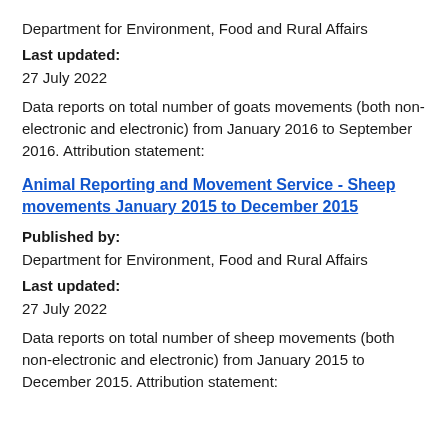Department for Environment, Food and Rural Affairs
Last updated:
27 July 2022
Data reports on total number of goats movements (both non-electronic and electronic) from January 2016 to September 2016. Attribution statement:
Animal Reporting and Movement Service - Sheep movements January 2015 to December 2015
Published by:
Department for Environment, Food and Rural Affairs
Last updated:
27 July 2022
Data reports on total number of sheep movements (both non-electronic and electronic) from January 2015 to December 2015. Attribution statement: